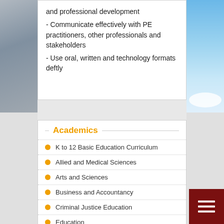and professional development
- Communicate effectively with PE practitioners, other professionals and stakeholders
- Use oral, written and technology formats deftly
Academics
K to 12 Basic Education Curriculum
Allied and Medical Sciences
Arts and Sciences
Business and Accountancy
Criminal Justice Education
Education